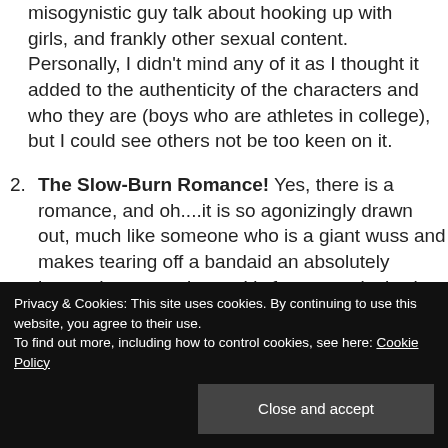misogynistic guy talk about hooking up with girls, and frankly other sexual content. Personally, I didn't mind any of it as I thought it added to the authenticity of the characters and who they are (boys who are athletes in college), but I could see others not be too keen on it.
2. The Slow-Burn Romance! Yes, there is a romance, and oh....it is so agonizingly drawn out, much like someone who is a giant wuss and makes tearing off a bandaid an absolutely horrendous experience. It's fun to see it slowly develop, but also so satisfying when it finally
Privacy & Cookies: This site uses cookies. By continuing to use this website, you agree to their use.
To find out more, including how to control cookies, see here: Cookie Policy
3. The Author! the author took her time studying